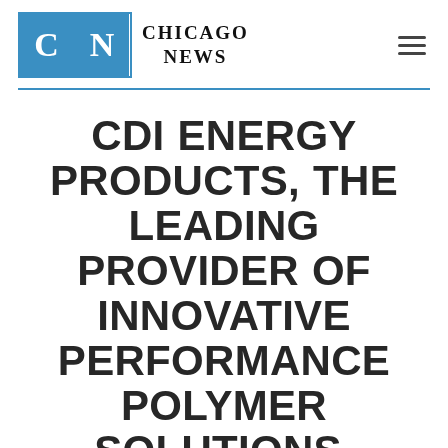[Figure (logo): Chicago News logo: two blue rectangular boxes with white letters C and N, followed by text CHICAGO NEWS in serif bold]
CDI ENERGY PRODUCTS, THE LEADING PROVIDER OF INNOVATIVE PERFORMANCE POLYMER SOLUTIONS, ANNOUNCED THE RELEASE OF ITS LATEST CASE STUDY ON CARBON FIBER REINFORCED PEEK WEAR COMPONENTS FOR A